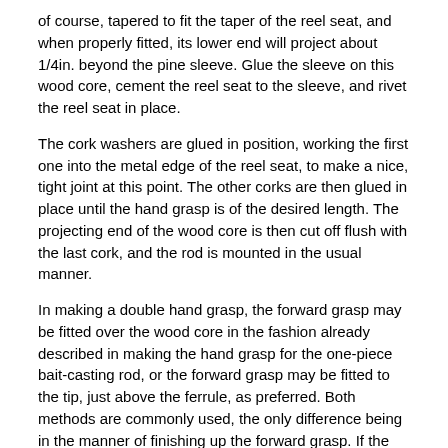of course, tapered to fit the taper of the reel seat, and when properly fitted, its lower end will project about 1/4in. beyond the pine sleeve. Glue the sleeve on this wood core, cement the reel seat to the sleeve, and rivet the reel seat in place.
The cork washers are glued in position, working the first one into the metal edge of the reel seat, to make a nice, tight joint at this point. The other corks are then glued in place until the hand grasp is of the desired length. The projecting end of the wood core is then cut off flush with the last cork, and the rod is mounted in the usual manner.
In making a double hand grasp, the forward grasp may be fitted over the wood core in the fashion already described in making the hand grasp for the one-piece bait-casting rod, or the forward grasp may be fitted to the tip, just above the ferrule, as preferred. Both methods are commonly used, the only difference being in the manner of finishing up the forward grasp. If the forward grip is affixed to the ferruled end of the tip, two tapered thimbles will be required to make a nice finish.
The heavy-surf, or tarpon, rod is made up of an independent, detachable butt, 20 in. long, having a solid-cork or cord-wound hand grasp, and a one-piece tip, 5 1/2 ft. long, altogether weighing 22 1/2...